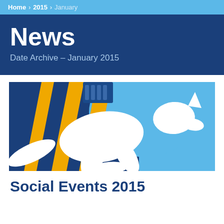Home > 2015 > January
News
Date Archive – January 2015
[Figure (illustration): Illustration of a white kangaroo silhouette jumping over cricket stumps with yellow diagonal stripes, on a blue and light blue background]
Social Events 2015